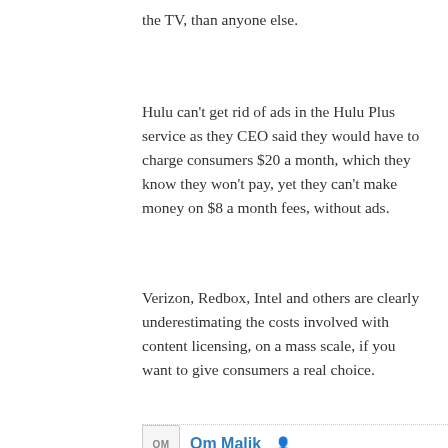the TV, than anyone else.
Hulu can't get rid of ads in the Hulu Plus service as they CEO said they would have to charge consumers $20 a month, which they know they won't pay, yet they can't make money on $8 a month fees, without ads.
Verizon, Redbox, Intel and others are clearly underestimating the costs involved with content licensing, on a mass scale, if you want to give consumers a real choice.
REPLY
Om Malik